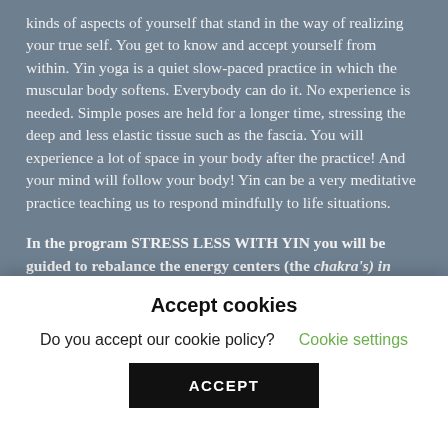kinds of aspects of yourself that stand in the way of realizing your true self. You get to know and accept yourself from within. Yin yoga is a quiet slow-paced practice in which the muscular body softens. Everybody can do it. No experience is needed. Simple poses are held for a longer time, stressing the deep and less elastic tissue such as the fascia. You will experience a lot of space in your body after the practice! And your mind will follow your body! Yin can be a very meditative practice teaching us to respond mindfully to life situations.
In the program STRESS LESS WITH YIN you will be guided to rebalance the energy centers (the chakra's) in your body, to relief stress in back, neck
Accept cookies
Do you accept our cookie policy?  Cookie settings
ACCEPT